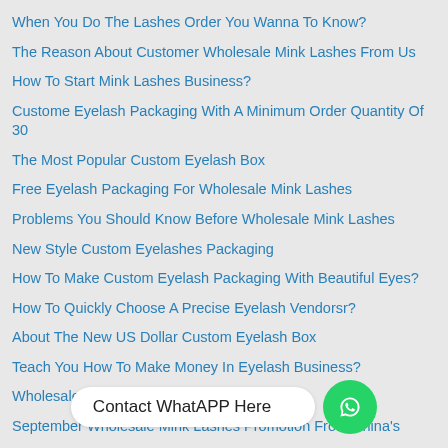When You Do The Lashes Order You Wanna To Know?
The Reason About Customer Wholesale Mink Lashes From Us
How To Start Mink Lashes Business?
Custome Eyelash Packaging With A Minimum Order Quantity Of 30
The Most Popular Custom Eyelash Box
Free Eyelash Packaging For Wholesale Mink Lashes
Problems You Should Know Before Wholesale Mink Lashes
New Style Custom Eyelashes Packaging
How To Make Custom Eyelash Packaging With Beautiful Eyes?
How To Quickly Choose A Precise Eyelash Vendorsr?
About The New US Dollar Custom Eyelash Box
Teach You How To Make Money In Eyelash Business?
Wholesale Mink Lashes …
September Wholesale Mink Lashes Promotion From China's
[Figure (infographic): WhatsApp contact button with bubble saying 'Contact WhatAPP Here' and green WhatsApp icon circle]